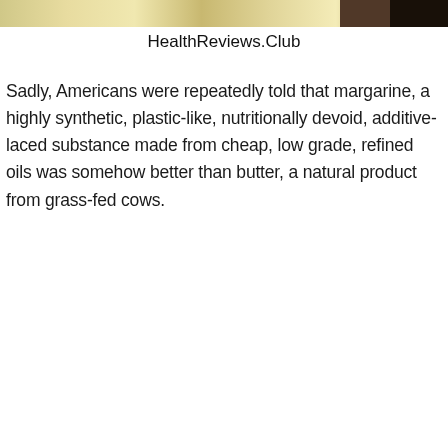[Figure (photo): Top portion of a photo showing food items, partially cropped at the top of the page]
HealthReviews.Club
Sadly, Americans were repeatedly told that margarine, a highly synthetic, plastic-like, nutritionally devoid, additive-laced substance made from cheap, low grade, refined oils was somehow better than butter, a natural product from grass-fed cows.